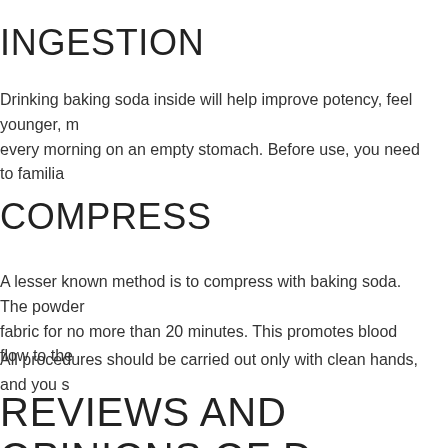INGESTION
Drinking baking soda inside will help improve potency, feel younger, m... every morning on an empty stomach. Before use, you need to familia...
COMPRESS
A lesser known method is to compress with baking soda. The powder... fabric for no more than 20 minutes. This promotes blood flow to the...
All procedures should be carried out only with clean hands, and you s...
REVIEWS AND OPINIONS OF D
Fantastic results should not be expected from the application of the p... stronger sex note an increase in the penis by several millimeters in len...